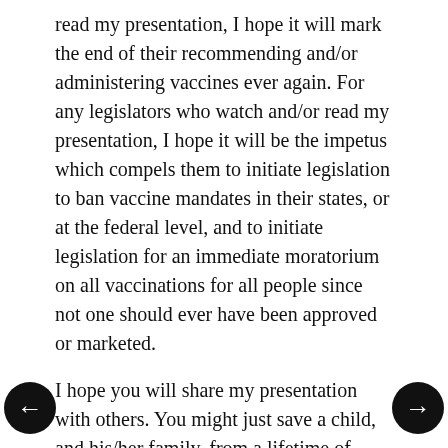read my presentation, I hope it will mark the end of their recommending and/or administering vaccines ever again. For any legislators who watch and/or read my presentation, I hope it will be the impetus which compels them to initiate legislation to ban vaccine mandates in their states, or at the federal level, and to initiate legislation for an immediate moratorium on all vaccinations for all people since not one should ever have been approved or marketed.
I hope you will share my presentation with others. You might just save a child, and his/her family, from a lifetime of suffering and premature death.
Laura Hayes